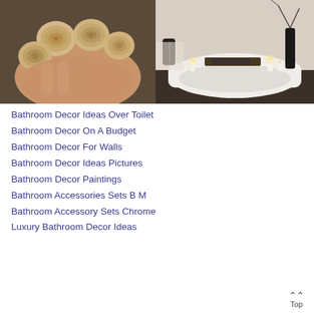[Figure (photo): A hand holding multiple small round wood slice discs with visible tree rings, close-up photo]
[Figure (photo): A dark, moody bathroom interior with a white bathtub, candles lit around it, dark wood tray, and vases with branches]
Bathroom Decor Ideas Over Toilet
Bathroom Decor On A Budget
Bathroom Decor For Walls
Bathroom Decor Ideas Pictures
Bathroom Decor Paintings
Bathroom Accessories Sets B M
Bathroom Accessory Sets Chrome
Luxury Bathroom Decor Ideas